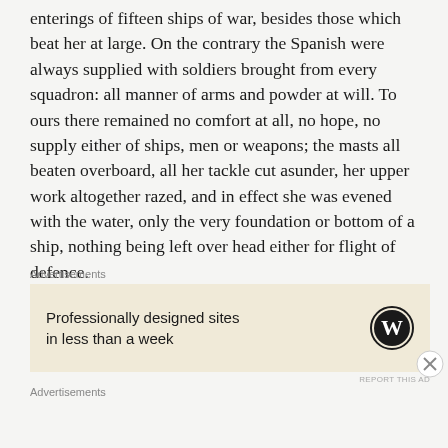enterings of fifteen ships of war, besides those which beat her at large. On the contrary the Spanish were always supplied with soldiers brought from every squadron: all manner of arms and powder at will. To ours there remained no comfort at all, no hope, no supply either of ships, men or weapons; the masts all beaten overboard, all her tackle cut asunder, her upper work altogether razed, and in effect she was evened with the water, only the very foundation or bottom of a ship, nothing being left over head either for flight of defence.
[Figure (other): WordPress advertisement banner: 'Professionally designed sites in less than a week' with WordPress logo]
Advertisements